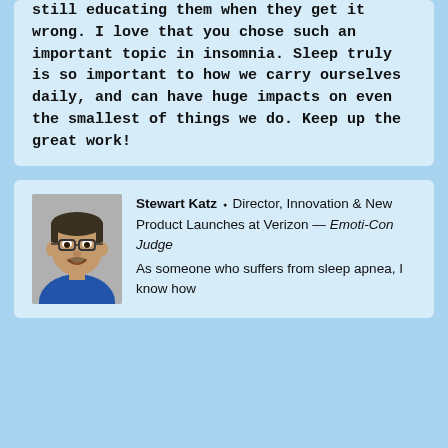still educating them when they get it wrong. I love that you chose such an important topic in insomnia. Sleep truly is so important to how we carry ourselves daily, and can have huge impacts on even the smallest of things we do. Keep up the great work!
[Figure (photo): Headshot of Stewart Katz, a middle-aged man with glasses and a blue shirt, smiling.]
Stewart Katz — Director, Innovation & New Product Launches at Verizon — Emoti-Con Judge
As someone who suffers from sleep apnea, I know how